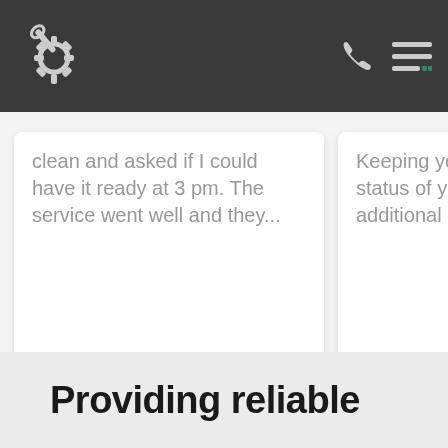[Figure (screenshot): Navigation bar with gear/wrench logo icon on the left, phone icon and hamburger menu icon on the right, dark gray background]
clean and asked if I could have it ready at 3 pm. The service went well and they...
Read more
Keeping yo... status of yo... additional s...
Read more
Providing reliable